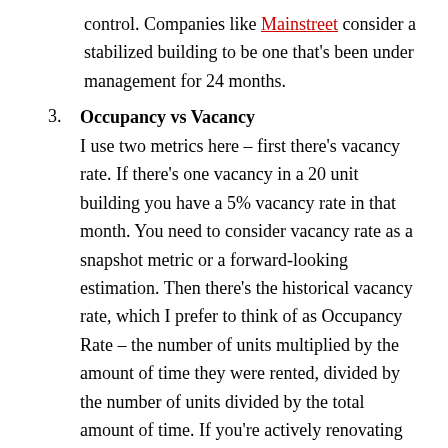control. Companies like Mainstreet consider a stabilized building to be one that's been under management for 24 months.
3. Occupancy vs Vacancy
I use two metrics here – first there's vacancy rate. If there's one vacancy in a 20 unit building you have a 5% vacancy rate in that month. You need to consider vacancy rate as a snapshot metric or a forward-looking estimation. Then there's the historical vacancy rate, which I prefer to think of as Occupancy Rate – the number of units multiplied by the amount of time they were rented, divided by the number of units divided by the total amount of time. If you're actively renovating to add value or just doing repairs to maintain cash-flow you may also want to be conscious of how much time you loose to renos – a rental-time-lost or down-time metric.
4. Rent-Days Lost to Renovations